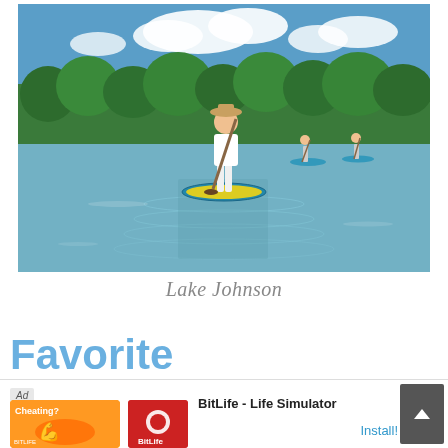[Figure (photo): A person standing on a paddleboard on a calm lake, holding a paddle, with trees lining the far shore under a partly cloudy sky. Two other paddleboarders are visible in the background.]
Lake Johnson
Favorite Neighborhood In
Ral